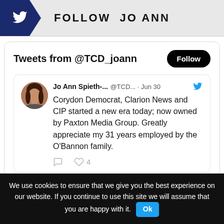FOLLOW JO ANN
Tweets from @TCD_joann
Jo Ann Spieth-... @TCD... · Jun 30 — Corydon Democrat, Clarion News and CIP started a new era today; now owned by Paxton Media Group. Greatly appreciate my 31 years employed by the O'Bannon family.
View more on Twitter
We use cookies to ensure that we give you the best experience on our website. If you continue to use this site we will assume that you are happy with it. Ok